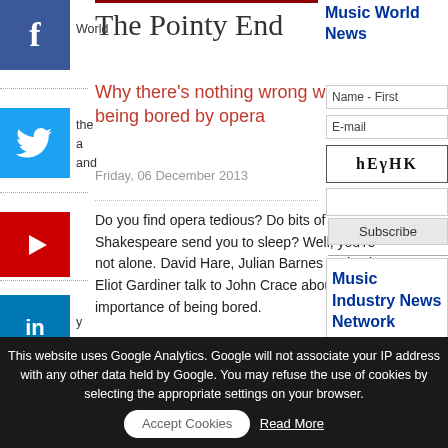[Figure (infographic): Facebook social share button (blue square with f icon) with 'World' text beside it]
[Figure (infographic): Twitter social share button (blue square with bird icon) with 'the' and 'and' text beside it]
[Figure (infographic): YouTube/Play social button (red square with play icon)]
[Figure (infographic): LinkedIn social share button (blue square with in icon) with 'y' text beside it]
ion
Policy, Research & Politics
Technologies and media
The Pointy
The Pointy End
Why there's nothing wrong with being bored by opera
Friday, 06 December 2013
Do you find opera tedious? Do bits of Shakespeare send you to sleep? Well, you're not alone. David Hare, Julian Barnes and John Eliot Gardiner talk to John Crace about the importance of being bored.
The Guardian
Music World News
Name - First
E-mail
hEγHK
Subscribe
Music Industry News Network
This website uses Google Analytics. Google will not associate your IP address with any other data held by Google. You may refuse the use of cookies by selecting the appropriate settings on your browser.
Accept Cookies
Read More